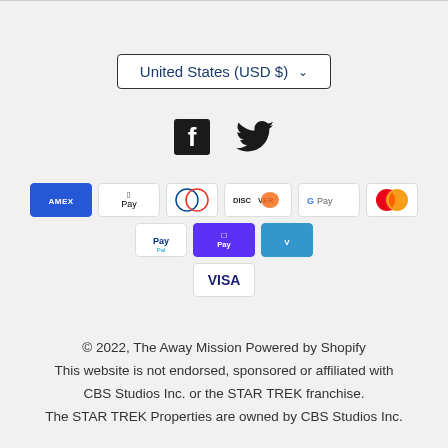[Figure (other): Currency selector dropdown button showing 'United States (USD $)']
[Figure (other): Social media icons: Facebook and Twitter]
[Figure (other): Payment method icons: American Express, Apple Pay, Diners Club, Discover, Google Pay, Mastercard, PayPal, Shop Pay, Venmo, Visa]
© 2022, The Away Mission Powered by Shopify
This website is not endorsed, sponsored or affiliated with CBS Studios Inc. or the STAR TREK franchise.
The STAR TREK Properties are owned by CBS Studios Inc.